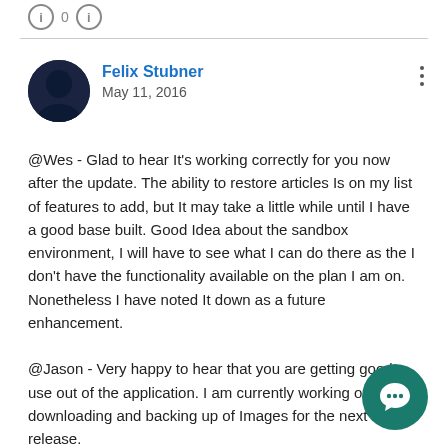[Figure (other): Two circular info icons with a zero between them at the top of the page]
Felix Stubner
May 11, 2016
@Wes - Glad to hear It's working correctly for you now after the update. The ability to restore articles Is on my list of features to add, but It may take a little while until I have a good base built. Good Idea about the sandbox environment, I will have to see what I can do there as the I don't have the functionality available on the plan I am on. Nonetheless I have noted It down as a future enhancement.

@Jason - Very happy to hear that you are getting good use out of the application. I am currently working on the downloading and backing up of Images for the next release.

I'll post an update when It's out and you can take It for a test drive ;)